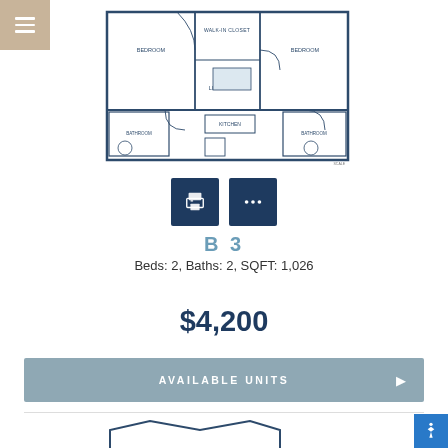[Figure (schematic): Floor plan of apartment unit B3, showing 2 bedrooms, 2 bathrooms, living room, kitchen, and closets in a rectangular layout with architectural details]
B 3
Beds: 2, Baths: 2, SQFT: 1,026
$4,200
AVAILABLE UNITS
[Figure (schematic): Partial floor plan of another apartment unit visible at bottom of page]